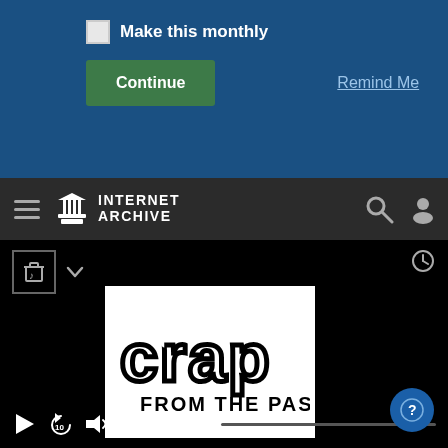[Figure (screenshot): Donation banner with checkbox 'Make this monthly', a green Continue button, and a 'Remind Me' link on a blue background]
[Figure (screenshot): Internet Archive navigation bar with hamburger menu, building logo, INTERNET ARCHIVE text, search icon, and user icon]
[Figure (screenshot): Media player with black background showing 'Crap From The Past' logo, playback controls showing 00:00 / 1:29:57, and a help button]